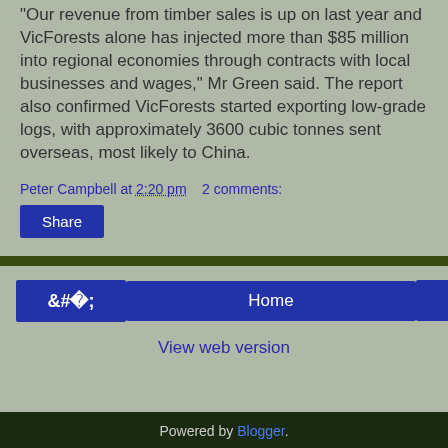"Our revenue from timber sales is up on last year and VicForests alone has injected more than $85 million into regional economies through contracts with local businesses and wages," Mr Green said. The report also confirmed VicForests started exporting low-grade logs, with approximately 3600 cubic tonnes sent overseas, most likely to China.
Peter Campbell at 2:20 pm   2 comments:
Share
Powered by Blogger.